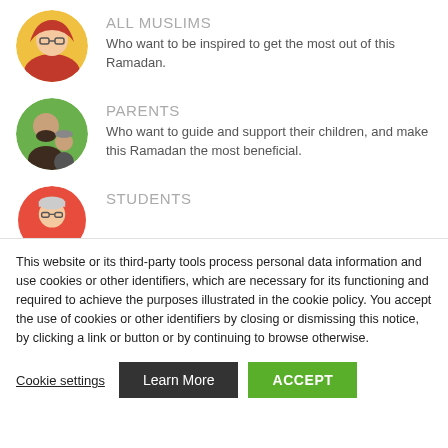ALL MUSLIMS
Who want to be inspired to get the most out of this Ramadan.
PARENTS
Who want to guide and support their children, and make this Ramadan the most beneficial.
STUDENTS
This website or its third-party tools process personal data information and use cookies or other identifiers, which are necessary for its functioning and required to achieve the purposes illustrated in the cookie policy. You accept the use of cookies or other identifiers by closing or dismissing this notice, by clicking a link or button or by continuing to browse otherwise.
Cookie settings
Learn More
ACCEPT